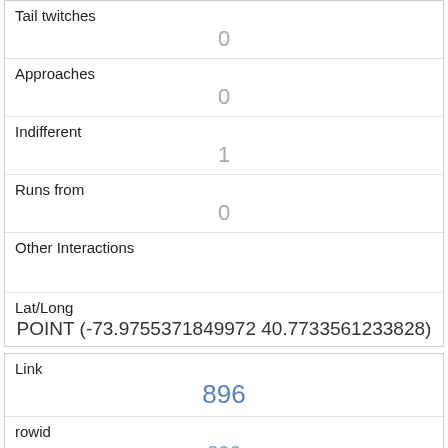| Tail twitches | 0 |
| Approaches | 0 |
| Indifferent | 1 |
| Runs from | 0 |
| Other Interactions |  |
| Lat/Long | POINT (-73.9755371849972 40.7733561233828) |
| Link | 896 |
| rowid | 896 |
| longitude | -73.9755055978764 |
| latitude |  |